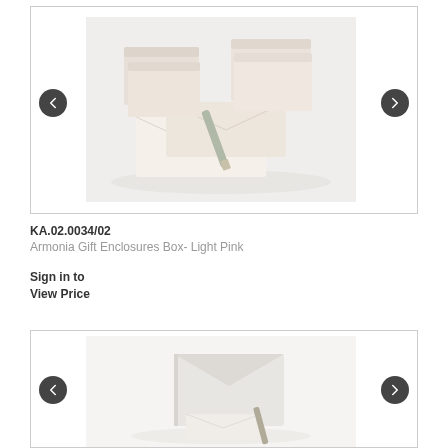[Figure (photo): Armonia Gift Enclosures Box in Light Pink — shows two small pink boxes and envelopes with a pen on a light background]
KA.02.0034/02
Armonia Gift Enclosures Box- Light Pink
Sign in to
View Price
[Figure (photo): Armonia product box in light grey/white, shown with envelopes and pen on a white background]